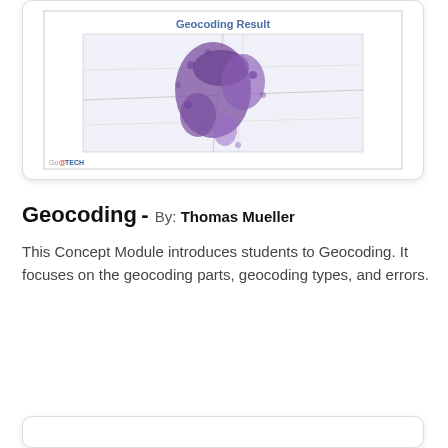[Figure (screenshot): A card showing a geocoding result map with purple clusters on a light background, titled 'Geocoding Result', with a GeoTECH logo in the bottom-left corner.]
Geocoding - By: Thomas Mueller
This Concept Module introduces students to Geocoding. It focuses on the geocoding parts, geocoding types, and errors.